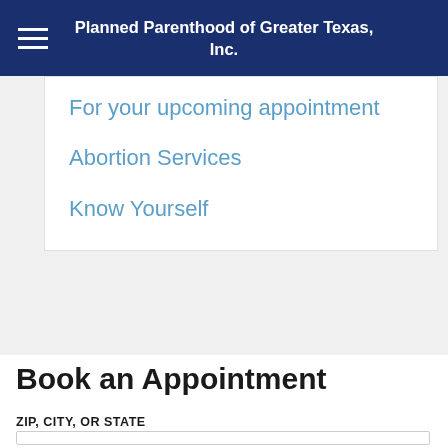Planned Parenthood of Greater Texas, Inc.
For your upcoming appointment
Abortion Services
Know Yourself
Book an Appointment
ZIP, CITY, OR STATE